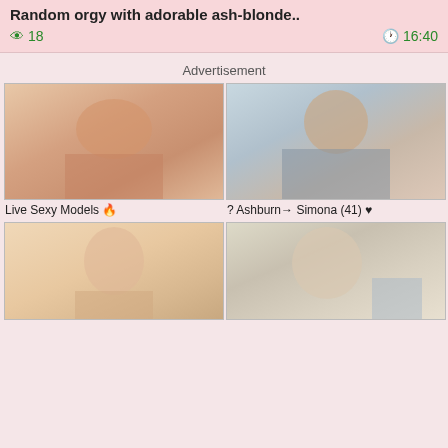Random orgy with adorable ash-blonde..
👁 18   🕐 16:40
Advertisement
[Figure (photo): Adult content advertisement image 1 - Live Sexy Models]
Live Sexy Models 🔥
[Figure (photo): Adult content advertisement image 2 - Ashburn Simona (41)]
? Ashburn→ Simona (41) ♥
[Figure (photo): Adult content advertisement image 3]
[Figure (photo): Adult content advertisement image 4]